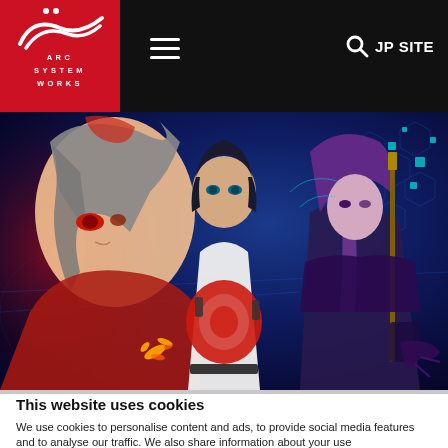[Figure (screenshot): Arc System Works website navigation header with logo on red background, hamburger menu icon, search icon and JP SITE text on black background]
[Figure (illustration): Anime-style illustration featuring three characters: a red-haired character on the left in red outfit, a dark-haired male character in white and red jacket in the center, and a purple-haired female character in dark armor on the right, set against a blue sci-fi background with hexagonal and circuit patterns]
This website uses cookies
We use cookies to personalise content and ads, to provide social media features and to analyse our traffic. We also share information about your use